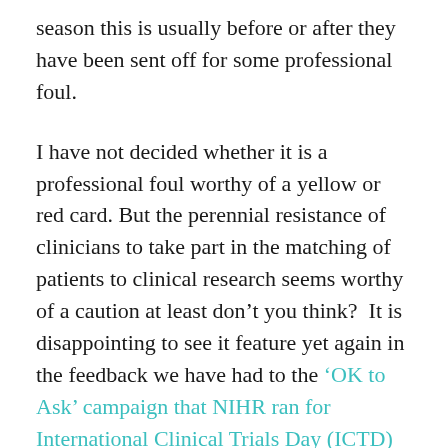season this is usually before or after they have been sent off for some professional foul.
I have not decided whether it is a professional foul worthy of a yellow or red card. But the perennial resistance of clinicians to take part in the matching of patients to clinical research seems worthy of a caution at least don't you think?  It is disappointing to see it feature yet again in the feedback we have had to the 'OK to Ask' campaign that NIHR ran for International Clinical Trials Day (ICTD) in May. You will recall that the aim of the campaign was to highlight to patients that they can and should be asking doctors about opportunities to take part in research.